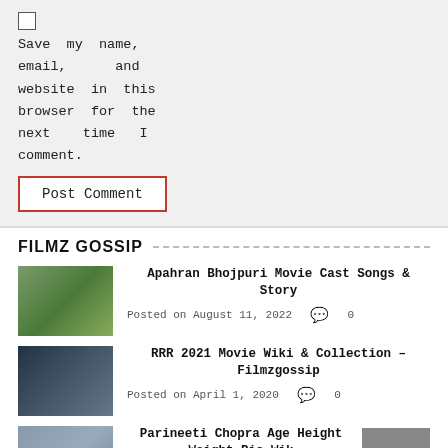Save my name, email, and website in this browser for the next time I comment.
Post Comment
FILMZ GOSSIP
[Figure (photo): Thumbnail of actor in yellow shirt]
Apahran Bhojpuri Movie Cast Songs & Story
Posted on August 11, 2022  0
[Figure (photo): Movie collage thumbnail for RRR]
RRR 2021 Movie Wiki & Collection – Filmzgossip
Posted on April 1, 2020  0
[Figure (photo): Thumbnail of Parineeti Chopra]
Parineeti Chopra Age Height Weight Bio Wik & Latest News